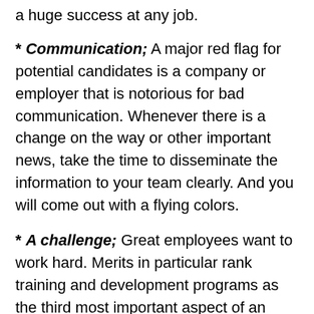a huge success at any job.
* Communication; A major red flag for potential candidates is a company or employer that is notorious for bad communication. Whenever there is a change on the way or other important news, take the time to disseminate the information to your team clearly. And you will come out with a flying colors.
* A challenge; Great employees want to work hard. Merits in particular rank training and development programs as the third most important aspect of an employee. What does that say? Workers want to be challenged. Once a job stops feeling challenging, and on